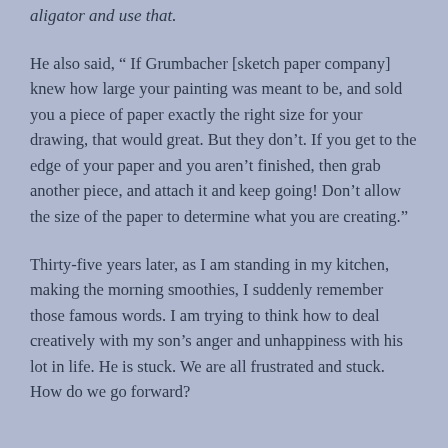aligator and use that.
He also said, “ If Grumbacher [sketch paper company] knew how large your painting was meant to be, and sold you a piece of paper exactly the right size for your drawing, that would great. But they don’t. If you get to the edge of your paper and you aren’t finished, then grab another piece, and attach it and keep going! Don’t allow the size of the paper to determine what you are creating.”
Thirty-five years later, as I am standing in my kitchen, making the morning smoothies, I suddenly remember those famous words. I am trying to think how to deal creatively with my son’s anger and unhappiness with his lot in life. He is stuck. We are all frustrated and stuck. How do we go forward?